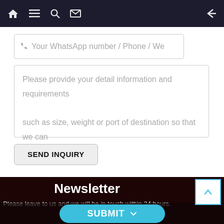[Figure (screenshot): Mobile app navigation bar with home, list, search, mail icons on dark background and back arrow on right]
Your WhatsApp number / Phone / We
Please provide your detail information and requirements

such as size, weight or port of destination so that we can
SEND INQUIRY
Newsletter
Please leave to us and we will be in touch within 24 hours.
SUBMIT